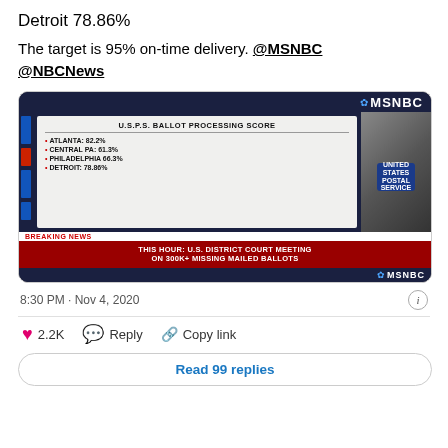Detroit 78.86%
The target is 95% on-time delivery. @MSNBC @NBCNews
[Figure (screenshot): MSNBC broadcast screenshot showing U.S.P.S. Ballot Processing Score: Atlanta 82.2%, Central PA 61.3%, Philadelphia 66.3%, Detroit 78.86%. Breaking news chyron: THIS HOUR: U.S. DISTRICT COURT MEETING ON 300K+ MISSING MAILED BALLOTS]
8:30 PM · Nov 4, 2020
2.2K  Reply  Copy link
Read 99 replies